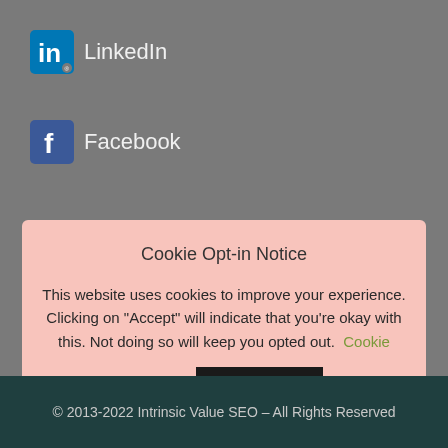[Figure (logo): LinkedIn logo icon with 'in' text on blue background, followed by 'LinkedIn' text]
[Figure (logo): Facebook logo icon with 'f' on blue background, followed by 'Facebook' text]
Cookie Opt-in Notice

This website uses cookies to improve your experience. Clicking on "Accept" will indicate that you're okay with this. Not doing so will keep you opted out. Cookie settings [ACCEPT button]
© 2013-2022 Intrinsic Value SEO – All Rights Reserved